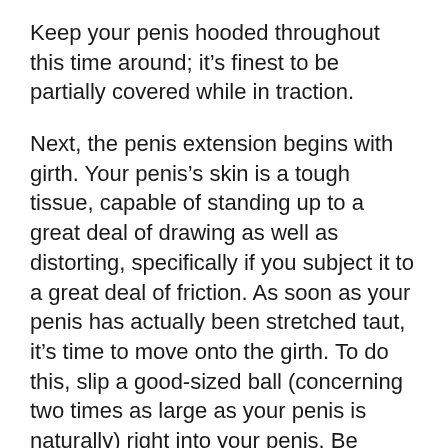Keep your penis hooded throughout this time around; it’s finest to be partially covered while in traction.
Next, the penis extension begins with girth. Your penis’s skin is a tough tissue, capable of standing up to a great deal of drawing as well as distorting, specifically if you subject it to a great deal of friction. As soon as your penis has actually been stretched taut, it’s time to move onto the girth. To do this, slip a good-sized ball (concerning two times as large as your penis is naturally) right into your penis. Be careful not to obtain the ball as well huge; if it obtains also loose, it may cut off blood circulation.
You can utilize your penis to help with